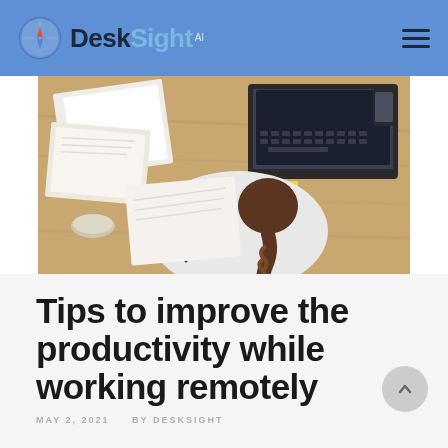DeskSight AI
[Figure (photo): Overhead view of a person with a brown braid sitting at a wooden desk, surrounded by papers, notebooks, a laptop, and a glass, writing or working.]
Tips to improve the productivity while working remotely
MAY 2, 2021   BY DESKSIGHT